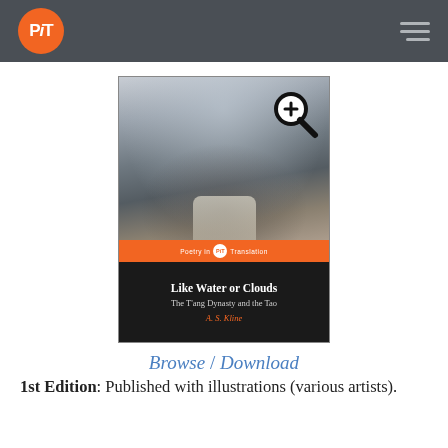PiT — Poetry in Translation
[Figure (illustration): Book cover of 'Like Water or Clouds: The T'ang Dynasty and the Tao' by A. S. Kline, with an ink wash mountain landscape painting, orange Poetry in Translation band, and magnifier zoom icon overlay. Below the cover: 'Browse / Download' link in italic blue.]
Browse / Download
1st Edition: Published with illustrations (various artists).